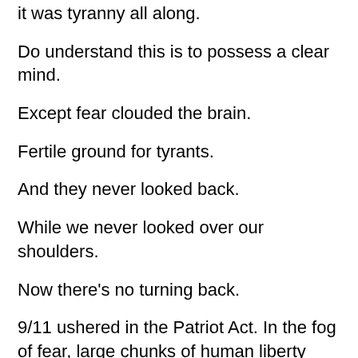it was tyranny all along.
Do understand this is to possess a clear mind.
Except fear clouded the brain.
Fertile ground for tyrants.
And they never looked back.
While we never looked over our shoulders.
Now there's no turning back.
9/11 ushered in the Patriot Act. In the fog of fear, large chunks of human liberty were forever removed because terrorists. Astute observers and true patriots warned against this. Do not trade liberty for security. It's not a fair deal.
But don't bother people with such naive abstracts! There are terrorists out there! 20 years on, and it's quite clear the warnings should have been heeded.
The Covid-19 was another terrorist attack and the same